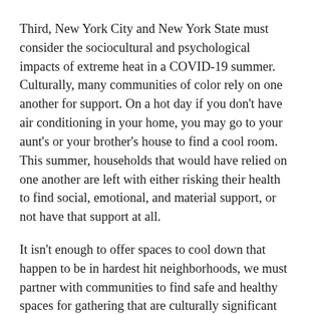Third, New York City and New York State must consider the sociocultural and psychological impacts of extreme heat in a COVID-19 summer. Culturally, many communities of color rely on one another for support. On a hot day if you don't have air conditioning in your home, you may go to your aunt's or your brother's house to find a cool room. This summer, households that would have relied on one another are left with either risking their health to find social, emotional, and material support, or not have that support at all.
It isn't enough to offer spaces to cool down that happen to be in hardest hit neighborhoods, we must partner with communities to find safe and healthy spaces for gathering that are culturally significant and will therefore be more utilized.
Finally, decision-makers must consider how anti-Black...